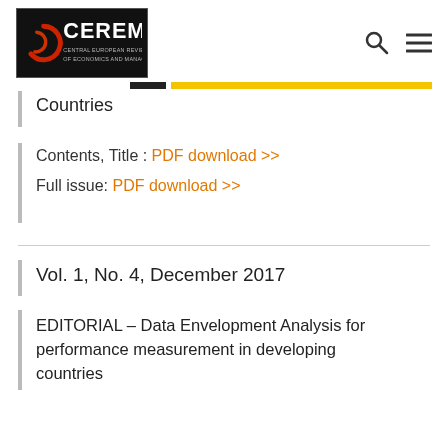[Figure (logo): CEREM - Central European Review of Economics and Management logo on black background]
Countries
Contents, Title : PDF download >>
Full issue: PDF download >>
Vol. 1, No. 4, December 2017
EDITORIAL – Data Envelopment Analysis for performance measurement in developing countries